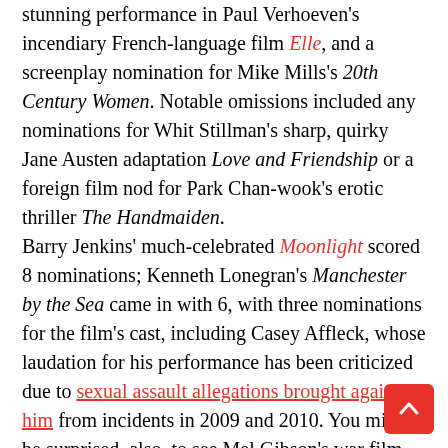stunning performance in Paul Verhoeven's incendiary French-language film Elle, and a screenplay nomination for Mike Mills's 20th Century Women. Notable omissions included any nominations for Whit Stillman's sharp, quirky Jane Austen adaptation Love and Friendship or a foreign film nod for Park Chan-wook's erotic thriller The Handmaiden.
Barry Jenkins' much-celebrated Moonlight scored 8 nominations; Kenneth Lonegran's Manchester by the Sea came in with 6, with three nominations for the film's cast, including Casey Affleck, whose laudation for his performance has been criticized due to sexual assault allegations brought against him from incidents in 2009 and 2010. You might be surprised, also, to see Mel Gibson's war film Hacksaw Ridge in six categories